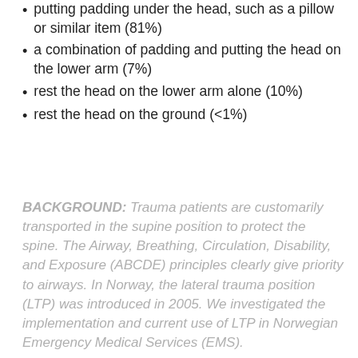putting padding under the head, such as a pillow or similar item (81%)
a combination of padding and putting the head on the lower arm (7%)
rest the head on the lower arm alone (10%)
rest the head on the ground (<1%)
BACKGROUND: Trauma patients are customarily transported in the supine position to protect the spine. The Airway, Breathing, Circulation, Disability, and Exposure (ABCDE) principles clearly give priority to airways. In Norway, the lateral trauma position (LTP) was introduced in 2005. We investigated the implementation and current use of LTP in Norwegian Emergency Medical Services (EMS).